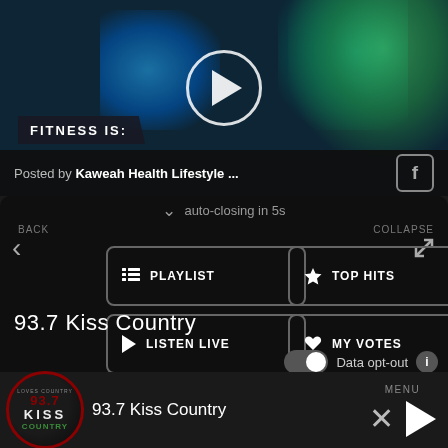[Figure (screenshot): Video thumbnail with colorful powder explosion (teal and blue), play button circle, FITNESS IS: text banner, and Facebook posted bar reading 'Posted by Kaweah Health Lifestyle ...' with Facebook icon]
auto-closing in 5s
BACK
COLLAPSE
PLAYLIST
TOP HITS
LISTEN LIVE
MY VOTES
CONTROLS
Data opt-out
93.7 Kiss Country
[Figure (logo): 93.7 Kiss Country radio station circular logo with red border, dark background, red 93.7 number, white KISS text, green COUNTRY text]
93.7 Kiss Country
MENU